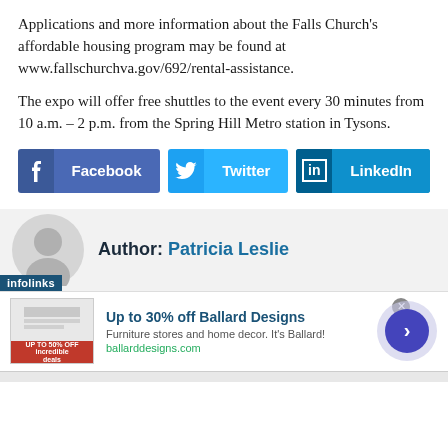Applications and more information about the Falls Church's affordable housing program may be found at www.fallschurchva.gov/692/rental-assistance.
The expo will offer free shuttles to the event every 30 minutes from 10 a.m. – 2 p.m. from the Spring Hill Metro station in Tysons.
[Figure (other): Social sharing buttons: Facebook, Twitter, LinkedIn]
[Figure (other): Author section with avatar placeholder and name: Author: Patricia Leslie, with infolinks label at bottom]
[Figure (other): Advertisement banner: Up to 30% off Ballard Designs, Furniture stores and home decor. It's Ballard!, ballarddesigns.com, with product image and circular arrow button]